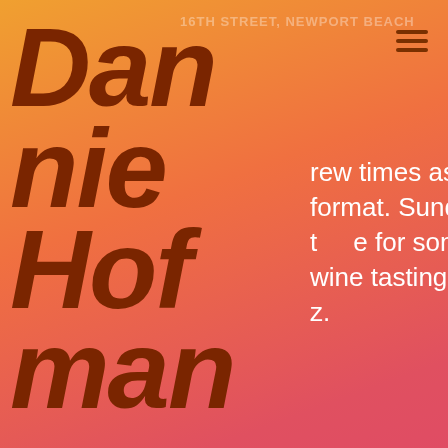Dannie Hofman
rew times as duo and trio format. Sundays are a nice time for some afternoon wine tasting and z.
SHARE
View on Google Maps
[Figure (photo): Thumbnail photo for The Blue Beet event flyer]
Last Wednesday Of August
Wed, Aug 29, 2018 @ 7:30PM — 10:30PM
BLUE BEET, 107 21ST PLACE NEWPORT BEACH, CA 92663